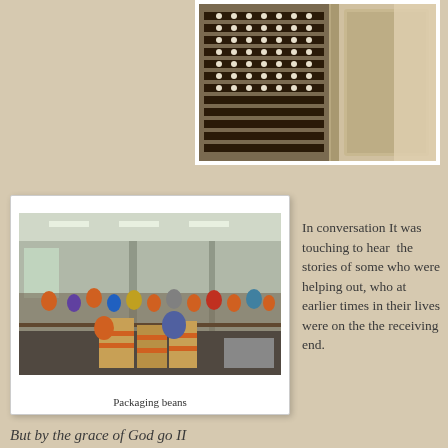[Figure (photo): Warehouse shelving with stacked boxes and canned goods, partial view from top]
[Figure (photo): Large warehouse with many volunteers packaging beans at long tables, boxes with orange stripes in foreground]
Packaging beans
In conversation It was touching to hear the stories of some who were helping out, who at earlier times in their lives were on the the receiving end.
But by the grace of God go II